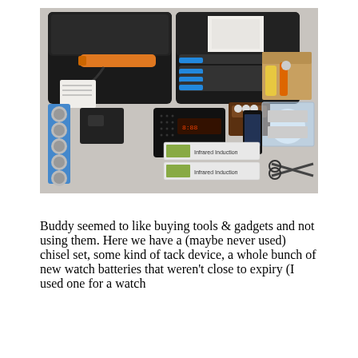[Figure (photo): A photograph of various tools and gadgets laid out on a table, including an open tool case with chisels, a rotary tool, watch batteries, a black electronic device, a baseball, boxes of infrared induction items, a smartphone, scissors, and other miscellaneous tools and gadgets.]
Buddy seemed to like buying tools & gadgets and not using them. Here we have a (maybe never used) chisel set, some kind of tack device, a whole bunch of new watch batteries that weren't close to expiry (I used one for a watch